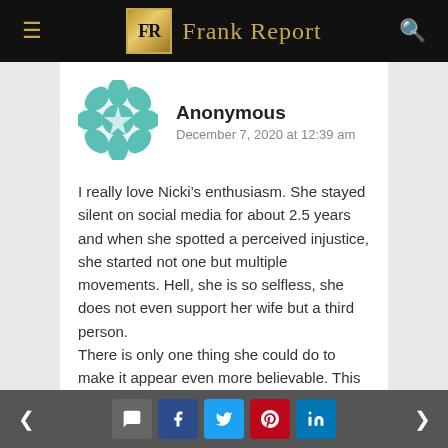Frank Report
Anonymous
December 7, 2020 at 12:39 am
I really love Nicki’s enthusiasm. She stayed silent on social media for about 2.5 years and when she spotted a perceived injustice, she started not one but multiple movements. Hell, she is so selfless, she does not even support her wife but a third person.
There is only one thing she could do to make it appear even more believable. This would be ending the movements now that the trial is over.